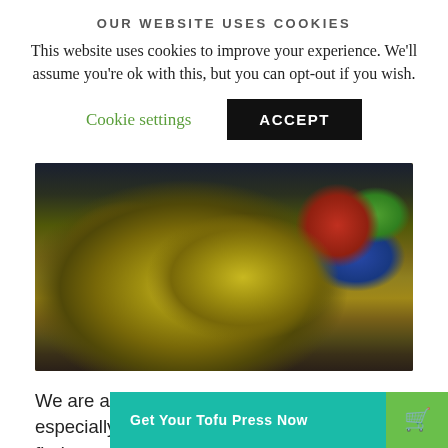OUR WEBSITE USES COOKIES
This website uses cookies to improve your experience. We'll assume you're ok with this, but you can opt-out if you wish.
Cookie settings  ACCEPT
[Figure (photo): A dark wok pan filled with scrambled tofu and vegetables with turmeric yellow coloring, with a blue bowl of green sauce in the background on a wooden surface]
We are ardent fans of Scrambled Tofu, especially as part of the quintessenti… You'll find many differen… cafés and on the internet and you can play around with
Get Your Tofu Press Now